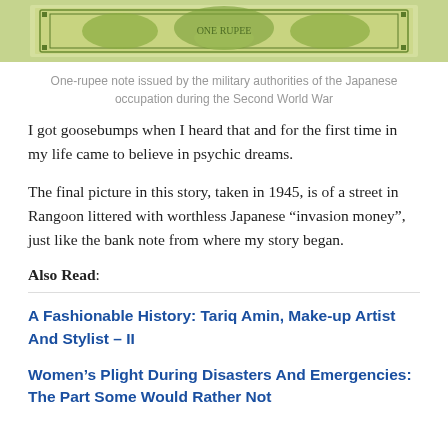[Figure (photo): Partial view of a one-rupee note issued by the military authorities of the Japanese occupation during the Second World War — green and tan currency note with decorative patterns]
One-rupee note issued by the military authorities of the Japanese occupation during the Second World War
I got goosebumps when I heard that and for the first time in my life came to believe in psychic dreams.
The final picture in this story, taken in 1945, is of a street in Rangoon littered with worthless Japanese “invasion money”, just like the bank note from where my story began.
Also Read:
A Fashionable History: Tariq Amin, Make-up Artist And Stylist – II
Women’s Plight During Disasters And Emergencies: The Part Some Would Rather Not